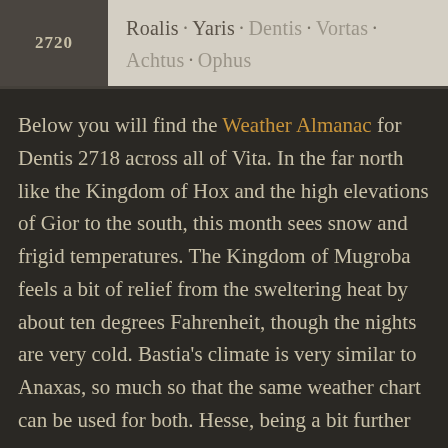| Number | Names |
| --- | --- |
| 2720 | Roalis · Yaris · Dentis · Vortas · Achtus · Ophus |
Below you will find the Weather Almanac for Dentis 2718 across all of Vita. In the far north like the Kingdom of Hox and the high elevations of Gior to the south, this month sees snow and frigid temperatures. The Kingdom of Mugroba feels a bit of relief from the sweltering heat by about ten degrees Fahrenheit, though the nights are very cold. Bastia's climate is very similar to Anaxas, so much so that the same weather chart can be used for both. Hesse, being a bit further